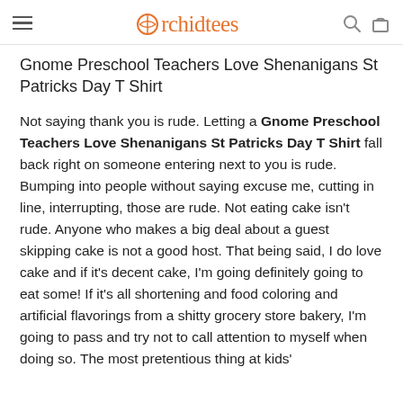Orchidtees
Gnome Preschool Teachers Love Shenanigans St Patricks Day T Shirt
Not saying thank you is rude. Letting a Gnome Preschool Teachers Love Shenanigans St Patricks Day T Shirt fall back right on someone entering next to you is rude. Bumping into people without saying excuse me, cutting in line, interrupting, those are rude. Not eating cake isn't rude. Anyone who makes a big deal about a guest skipping cake is not a good host. That being said, I do love cake and if it's decent cake, I'm going definitely going to eat some! If it's all shortening and food coloring and artificial flavorings from a shitty grocery store bakery, I'm going to pass and try not to call attention to myself when doing so. The most pretentious thing at kids'